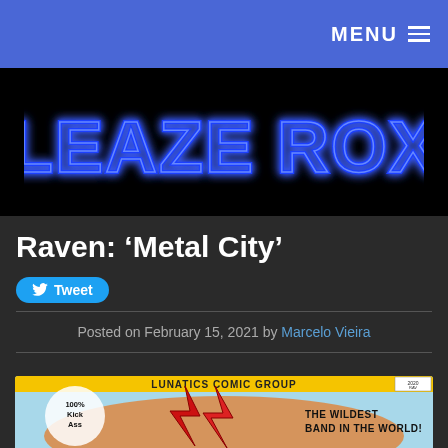MENU
[Figure (logo): Sleaze Roxx logo in neon blue outlined retro font on black background]
Raven: ‘Metal City’
Tweet
Posted on February 15, 2021 by Marcelo Vieira
[Figure (illustration): Comic book cover featuring Raven band, Lunatics Comic Group, with text '100% Kick Ass' and 'The Wildest Band in the World!']